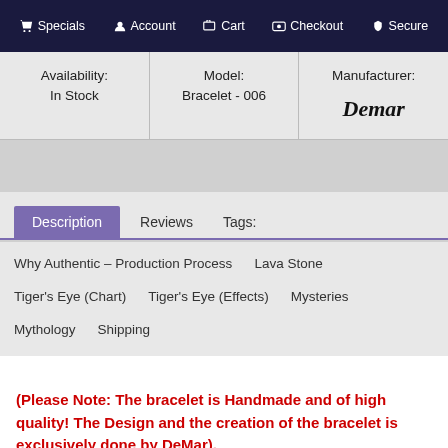Specials  Account  Cart  Checkout  Secure
| Availability | Model | Manufacturer |
| --- | --- | --- |
| In Stock | Bracelet - 006 | DeMar |
Description  Reviews  Tags:
Why Authentic – Production Process
Lava Stone
Tiger's Eye (Chart)
Tiger's Eye (Effects)
Mysteries
Mythology
Shipping
(Please Note: The bracelet is Handmade and of high quality! The Design and the creation of the bracelet is exclusively done by DeMar).